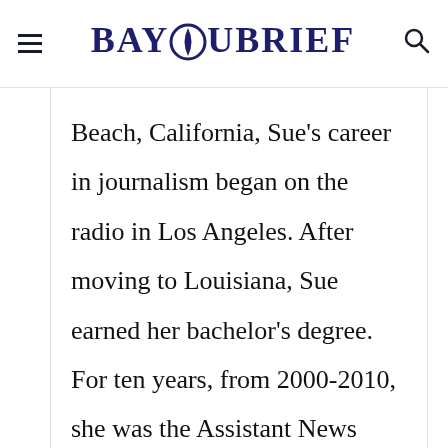BAYOUBRIEF
Beach, California, Sue's career in journalism began on the radio in Los Angeles. After moving to Louisiana, Sue earned her bachelor's degree. For ten years, from 2000-2010, she was the Assistant News Director at Louisiana Network. Sue also worked as the